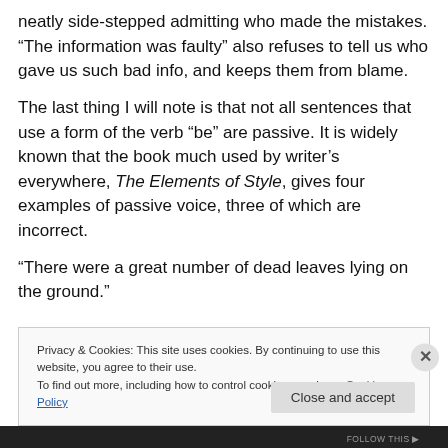neatly side-stepped admitting who made the mistakes. “The information was faulty” also refuses to tell us who gave us such bad info, and keeps them from blame.
The last thing I will note is that not all sentences that use a form of the verb “be” are passive. It is widely known that the book much used by writer’s everywhere, The Elements of Style, gives four examples of passive voice, three of which are incorrect.
“There were a great number of dead leaves lying on the ground.”
Privacy & Cookies: This site uses cookies. By continuing to use this website, you agree to their use.
To find out more, including how to control cookies, see here: Cookie Policy